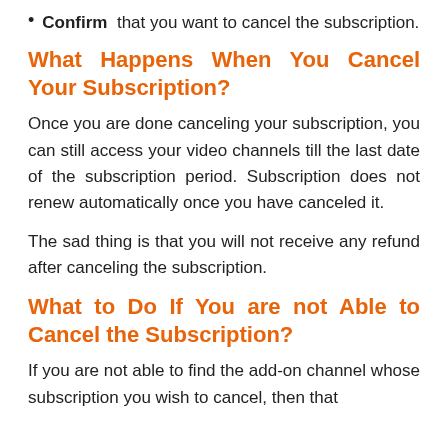Confirm that you want to cancel the subscription.
What Happens When You Cancel Your Subscription?
Once you are done canceling your subscription, you can still access your video channels till the last date of the subscription period. Subscription does not renew automatically once you have canceled it.
The sad thing is that you will not receive any refund after canceling the subscription.
What to Do If You are not Able to Cancel the Subscription?
If you are not able to find the add-on channel whose subscription you wish to cancel, then that